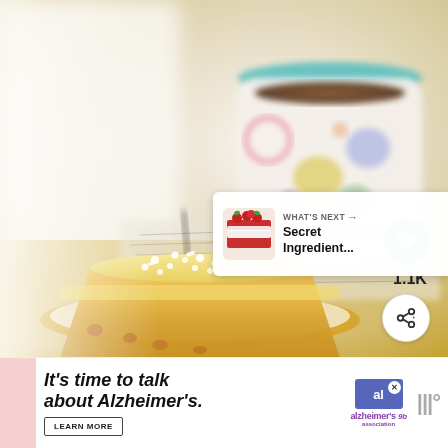[Figure (photo): A slice of frosted cake with white sprinkles on a gold-rimmed plate, beside a colorful decorated mug holding dark tea, on a white/cream surface with a newspaper. A heart/like button showing 1.1K and a share icon are overlaid at right. A 'What's Next' panel shows a red berry cake thumbnail with text 'Secret Ingredient...']
1.1K
WHAT'S NEXT → Secret Ingredient...
[Figure (infographic): Advertisement bar: It's time to talk about Alzheimer's. LEARN MORE button. Alzheimer's Association logo. Close button. Brand icon (three bars).]